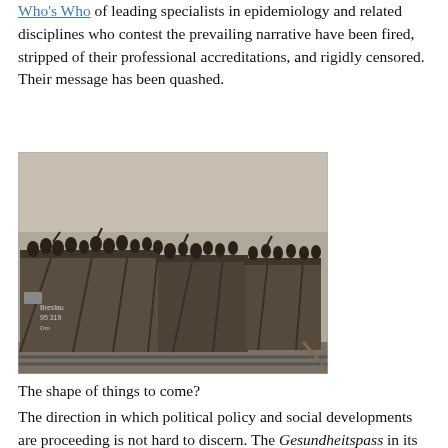Who's Who of leading specialists in epidemiology and related disciplines who contest the prevailing narrative have been fired, stripped of their professional accreditations, and rigidly censored. Their message has been quashed.
[Figure (photo): Black and white historical photograph of a large group of people crowded into open-top wooden freight rail cars. The rail car on the left side shows markings including 'Breslau 95 319'. People are visible standing and waving from the tops of the car walls.]
The shape of things to come?
The direction in which political policy and social developments are proceeding is not hard to discern. The Gesundheitspass in its current form and its enforcement of a regime of medical apartheid